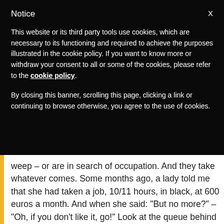Notice
This website or its third party tools use cookies, which are necessary to its functioning and required to achieve the purposes illustrated in the cookie policy. If you want to know more or withdraw your consent to all or some of the cookies, please refer to the cookie policy.
By closing this banner, scrolling this page, clicking a link or continuing to browse otherwise, you agree to the use of cookies.
weep – or are in search of occupation. And they take whatever comes. Some months ago, a lady told me that she had taken a job, 10/11 hours, in black, at 600 euros a month. And when she said: "But no more?" – "Oh, if you don't like it, go!" Look at the queue behind you." How many persons in search of occupation, persons who want to take